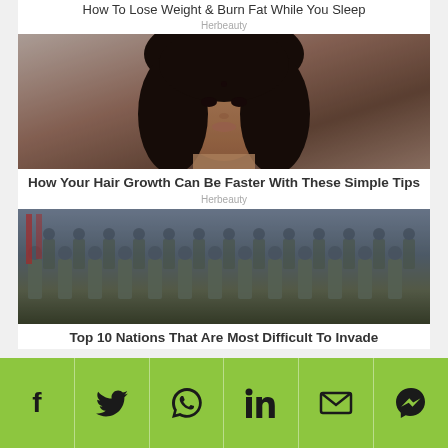How To Lose Weight & Burn Fat While You Sleep
Herbeauty
[Figure (photo): Portrait photo of a young South Asian woman with dark wavy hair and a bindi]
How Your Hair Growth Can Be Faster With These Simple Tips
Herbeauty
[Figure (photo): Photo of rows of military soldiers in uniform marching in formation]
Top 10 Nations That Are Most Difficult To Invade
[Figure (infographic): Green social share bar with icons for Facebook, Twitter, WhatsApp, LinkedIn, Email, and Messenger]